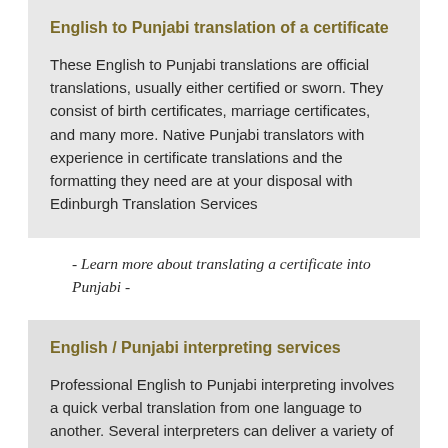English to Punjabi translation of a certificate
These English to Punjabi translations are official translations, usually either certified or sworn. They consist of birth certificates, marriage certificates, and many more. Native Punjabi translators with experience in certificate translations and the formatting they need are at your disposal with Edinburgh Translation Services
- Learn more about translating a certificate into Punjabi -
English / Punjabi interpreting services
Professional English to Punjabi interpreting involves a quick verbal translation from one language to another. Several interpreters can deliver a variety of services including synchronised interpretation, Punjabi interpretation, and more.